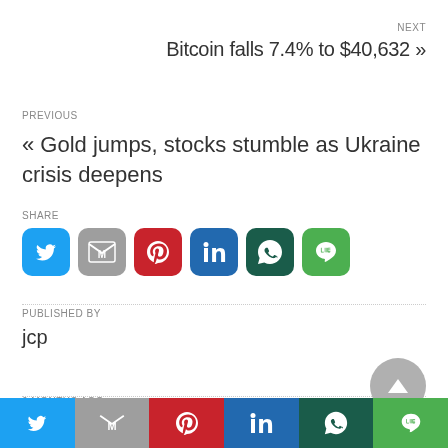NEXT
Bitcoin falls 7.4% to $40,632 »
PREVIOUS
« Gold jumps, stocks stumble as Ukraine crisis deepens
SHARE
[Figure (infographic): Social share buttons: Twitter, Gmail, Pinterest, LinkedIn, WhatsApp, Line]
PUBLISHED BY
jcp
6 MONTHS AGO
[Figure (infographic): Bottom bar with social sharing icons: Twitter, Gmail, Pinterest, LinkedIn, WhatsApp, Line]